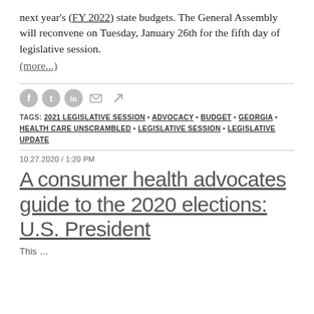next year's (FY 2022) state budgets. The General Assembly will reconvene on Tuesday, January 26th for the fifth day of legislative session.
(more...)
TAGS: 2021 LEGISLATIVE SESSION • ADVOCACY • BUDGET • GEORGIA • HEALTH CARE UNSCRAMBLED • LEGISLATIVE SESSION • LEGISLATIVE UPDATE
10.27.2020 / 1:20 PM
A consumer health advocates guide to the 2020 elections: U.S. President
This page…